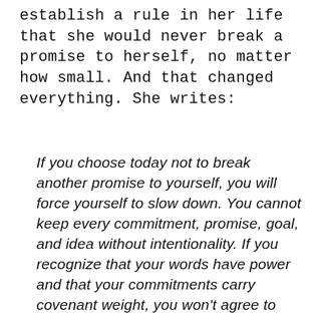establish a rule in her life that she would never break a promise to herself, no matter how small. And that changed everything. She writes:
If you choose today not to break another promise to yourself, you will force yourself to slow down. You cannot keep every commitment, promise, goal, and idea without intentionality. If you recognize that your words have power and that your commitments carry covenant weight, you won't agree to anything so easily. You'll slow